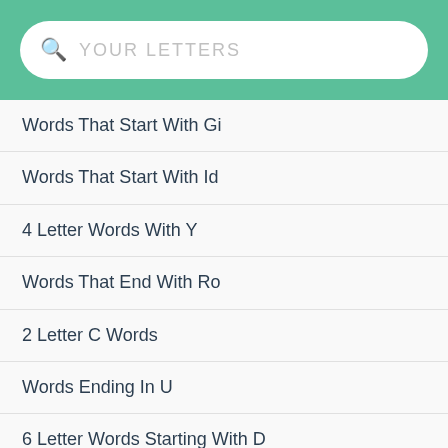YOUR LETTERS
Words That Start With Gi
Words That Start With Id
4 Letter Words With Y
Words That End With Ro
2 Letter C Words
Words Ending In U
6 Letter Words Starting With D
Words With Im
Words With De